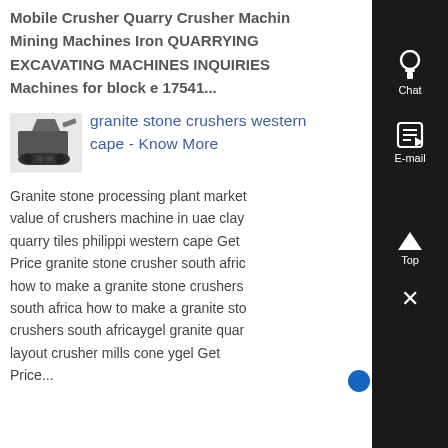Mobile Crusher Quarry Crusher Machine Mining Machines Iron QUARRYING EXCAVATING MACHINES INQUIRIES Machines for block e 17541...
[Figure (photo): Small thumbnail image of a mining/quarry crusher machine, dark gray, viewed from the side]
granite stone crushers western cape - Know More
Granite stone processing plant market value of crushers machine in uae clay quarry tiles philippi western cape Get Price granite stone crusher south africa how to make a granite stone crushers south africa how to make a granite stone crushers south africaygel granite quarry layout crusher mills cone ygel Get Price...